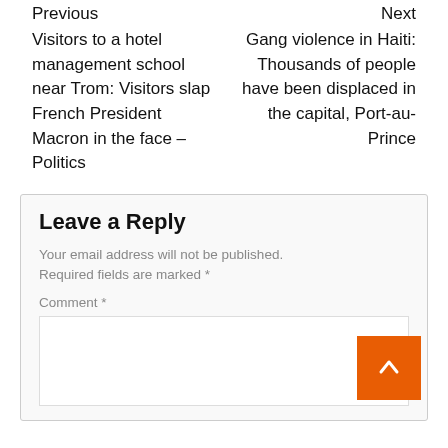Previous
Visitors to a hotel management school near Trom: Visitors slap French President Macron in the face – Politics
Next
Gang violence in Haiti: Thousands of people have been displaced in the capital, Port-au-Prince
Leave a Reply
Your email address will not be published. Required fields are marked *
Comment *